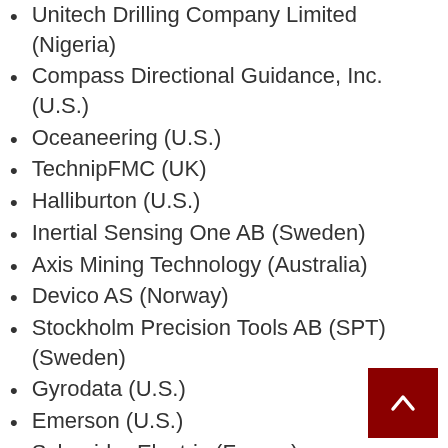Unitech Drilling Company Limited (Nigeria)
Compass Directional Guidance, Inc. (U.S.)
Oceaneering (U.S.)
TechnipFMC (UK)
Halliburton (U.S.)
Inertial Sensing One AB (Sweden)
Axis Mining Technology (Australia)
Devico AS (Norway)
Stockholm Precision Tools AB (SPT) (Sweden)
Gyrodata (U.S.)
Emerson (U.S.)
Schneider Electric (France)